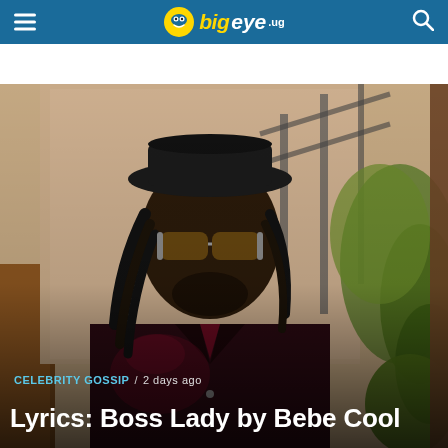bigeye.ug
[Figure (photo): A man with dreadlocks, wearing a black hat, sunglasses, and a dark maroon/black blazer, posing outdoors against a wall with stairs and green foliage in the background.]
CELEBRITY GOSSIP / 2 days ago
Lyrics: Boss Lady by Bebe Cool